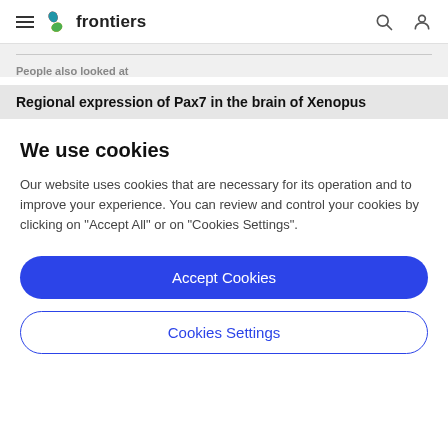frontiers
People also looked at
Regional expression of Pax7 in the brain of Xenopus
We use cookies
Our website uses cookies that are necessary for its operation and to improve your experience. You can review and control your cookies by clicking on "Accept All" or on "Cookies Settings".
Accept Cookies
Cookies Settings